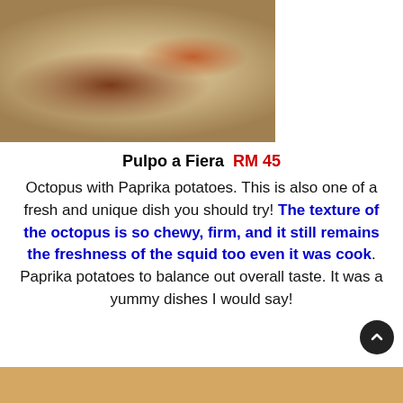[Figure (photo): Octopus dish (Pulpo a Fiera) served on a white plate with paprika potatoes and garnish]
Pulpo a Fiera  RM 45
Octopus with Paprika potatoes. This is also one of a fresh and unique dish you should try! The texture of the octopus is so chewy, firm, and it still remains the freshness of the squid too even it was cook. Paprika potatoes to balance out overall taste. It was a yummy dishes I would say!